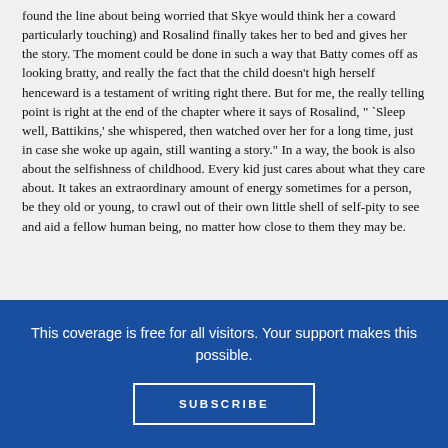found the line about being worried that Skye would think her a coward particularly touching) and Rosalind finally takes her to bed and gives her the story. The moment could be done in such a way that Batty comes off as looking bratty, and really the fact that the child doesn't high herself henceward is a testament of writing right there. But for me, the really telling point is right at the end of the chapter where it says of Rosalind, " `Sleep well, Battikins,' she whispered, then watched over her for a long time, just in case she woke up again, still wanting a story." In a way, the book is also about the selfishness of childhood. Every kid just cares about what they care about. It takes an extraordinary amount of energy sometimes for a person, be they old or young, to crawl out of their own little shell of self-pity to see and aid a fellow human being, no matter how close to them they may be.
This coverage is free for all visitors. Your support makes this possible.
SUBSCRIBE